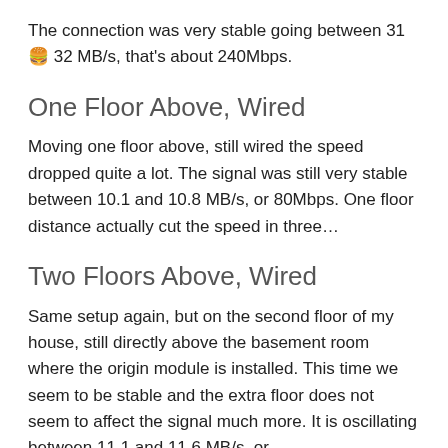The connection was very stable going between 31 🍔 32 MB/s, that's about 240Mbps.
One Floor Above, Wired
Moving one floor above, still wired the speed dropped quite a lot. The signal was still very stable between 10.1 and 10.8 MB/s, or 80Mbps. One floor distance actually cut the speed in three…
Two Floors Above, Wired
Same setup again, but on the second floor of my house, still directly above the basement room where the origin module is installed. This time we seem to be stable and the extra floor does not seem to affect the signal much more. It is oscillating between 11.1 and 11.6 MB/s, or